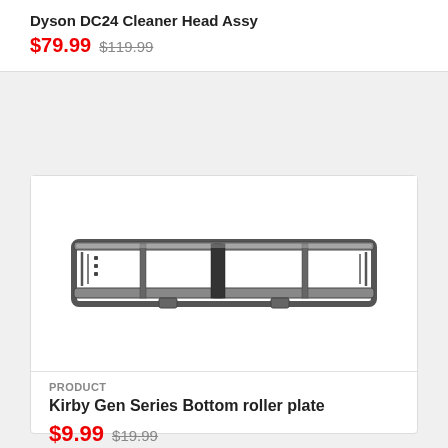Dyson DC24 Cleaner Head Assy
$79.99 $119.99
[Figure (photo): Kirby Gen Series Bottom roller plate - a rectangular chrome/metal grid frame with multiple bars and two small feet at the bottom]
PRODUCT
Kirby Gen Series Bottom roller plate
$9.99 $19.99